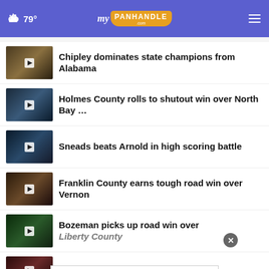79° myPanhandle.com
Chipley dominates state champions from Alabama
Holmes County rolls to shutout win over North Bay …
Sneads beats Arnold in high scoring battle
Franklin County earns tough road win over Vernon
Bozeman picks up road win over Liberty County
… victory vs. former …
[Figure (screenshot): Advertisement banner reading LIFE KEEPS MOVING.]